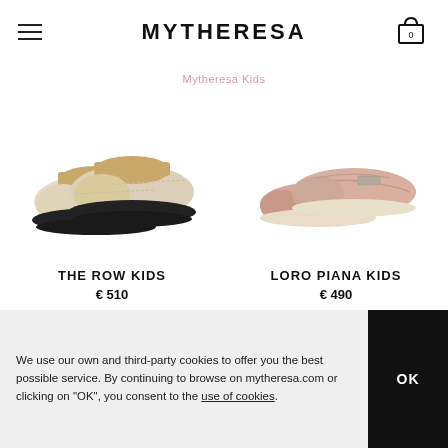MYTHERESA
Mytheresa Kids
[Figure (photo): The Row Kids children's suede slip-on shoes with fur lining and black rubber sole]
THE ROW KIDS
€ 510
[Figure (photo): Loro Piana Kids pink/nude leather loafers with metal bit hardware and cream sole]
LORO PIANA KIDS
€ 490
We use our own and third-party cookies to offer you the best possible service. By continuing to browse on mytheresa.com or clicking on "OK", you consent to the use of cookies.